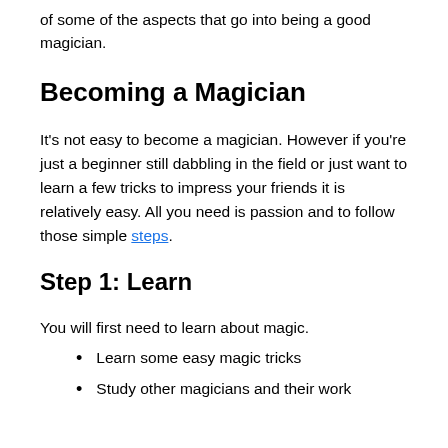of some of the aspects that go into being a good magician.
Becoming a Magician
It's not easy to become a magician. However if you're just a beginner still dabbling in the field or just want to learn a few tricks to impress your friends it is relatively easy. All you need is passion and to follow those simple steps.
Step 1: Learn
You will first need to learn about magic.
Learn some easy magic tricks
Study other magicians and their work